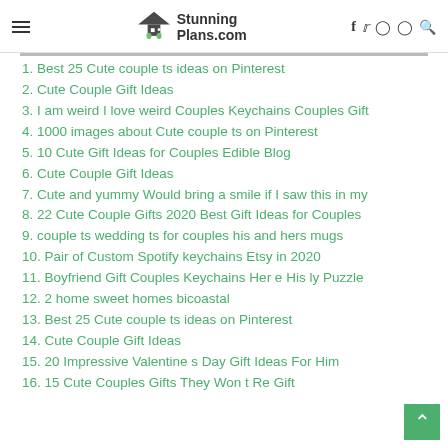StunningPlans.com
1. Best 25 Cute couple ts ideas on Pinterest
2. Cute Couple Gift Ideas
3. I am weird I love weird Couples Keychains Couples Gift
4. 1000 images about Cute couple ts on Pinterest
5. 10 Cute Gift Ideas for Couples Edible Blog
6. Cute Couple Gift Ideas
7. Cute and yummy Would bring a smile if I saw this in my
8. 22 Cute Couple Gifts 2020 Best Gift Ideas for Couples
9. couple ts wedding ts for couples his and hers mugs
10. Pair of Custom Spotify keychains Etsy in 2020
11. Boyfriend Gift Couples Keychains Her e His ly Puzzle
12. 2 home sweet homes bicoastal
13. Best 25 Cute couple ts ideas on Pinterest
14. Cute Couple Gift Ideas
15. 20 Impressive Valentine s Day Gift Ideas For Him
16. 15 Cute Couples Gifts They Won t Re Gift